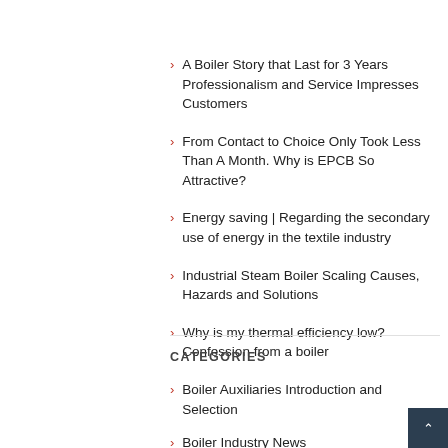A Boiler Story that Last for 3 Years Professionalism and Service Impresses Customers
From Contact to Choice Only Took Less Than A Month. Why is EPCB So Attractive?
Energy saving | Regarding the secondary use of energy in the textile industry
Industrial Steam Boiler Scaling Causes, Hazards and Solutions
Why is my thermal efficiency low? Confession from a boiler
CATEGORIES
Boiler Auxiliaries Introduction and Selection
Boiler Industry News
Boiler Tips and Precautions